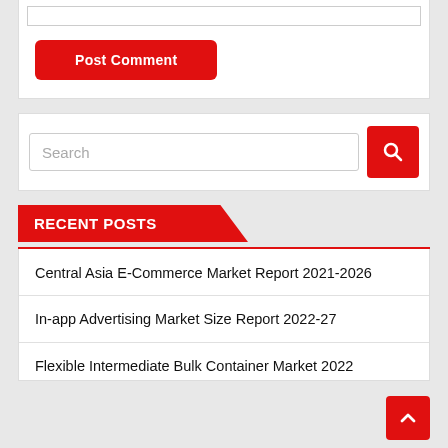[Figure (screenshot): Text input bar at top of white card section]
Post Comment
Search
RECENT POSTS
Central Asia E-Commerce Market Report 2021-2026
In-app Advertising Market Size Report 2022-27
Flexible Intermediate Bulk Container Market 2022